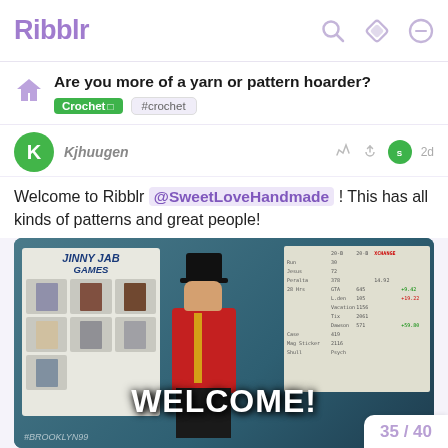Ribblr
Are you more of a yarn or pattern hoarder?
Crochet  #crochet
Kjhuugen  2d
Welcome to Ribblr @SweetLoveHandmade ! This has all kinds of patterns and great people!
[Figure (photo): TV show Brooklyn 99 meme still - person in ringmaster costume with caption WELCOME! overlaid; behind him is a 'Jinny Jab Games' poster and a whiteboard with scores; #Brooklyn99 watermark visible]
35 / 40